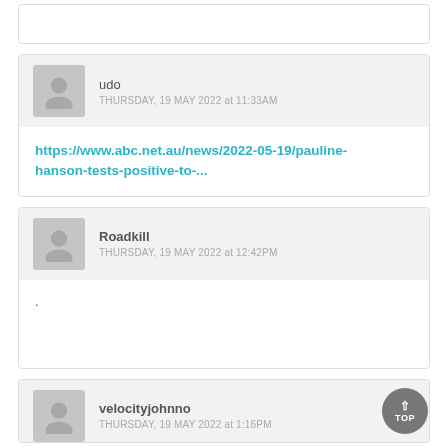[Figure (other): Partial comment box at top of page, cropped]
udo
THURSDAY, 19 MAY 2022 at 11:33AM
https://www.abc.net.au/news/2022-05-19/pauline-hanson-tests-positive-to-...
Roadkill
THURSDAY, 19 MAY 2022 at 12:42PM
.
velocityjohnno
THURSDAY, 19 MAY 2022 at 1:16PM